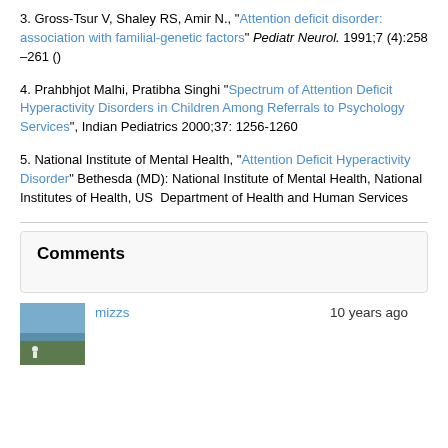3. Gross-Tsur V, Shaley RS, Amir N., "Attention deficit disorder: association with familial-genetic factors" Pediatr Neurol. 1991;7 (4):258 –261 ()
4. Prahbhjot Malhi, Pratibha Singhi "Spectrum of Attention Deficit Hyperactivity Disorders in Children Among Referrals to Psychology Services", Indian Pediatrics 2000;37: 1256-1260
5. National Institute of Mental Health, "Attention Deficit Hyperactivity Disorder" Bethesda (MD): National Institute of Mental Health, National Institutes of Health, US  Department of Health and Human Services
Comments